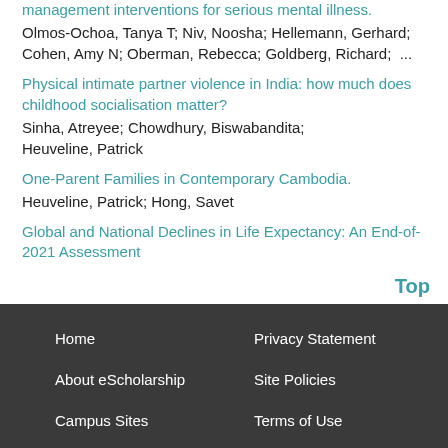management interventions for serious mental illness.
Olmos-Ochoa, Tanya T; Niv, Noosha; Hellemann, Gerhard; Cohen, Amy N; Oberman, Rebecca; Goldberg, Richard;  ...
Physical intimate partner violence in India: how much does childhood socialisation matter?
Sinha, Atreyee; Chowdhury, Biswabandita; Heuveline, Patrick
One-Parent Families in Contemporary Cambodia.
Heuveline, Patrick; Hong, Savet
Global and National Declines in Life Expectancy: An End-of-2021 Assessment
Top
Home | Privacy Statement | About eScholarship | Site Policies | Campus Sites | Terms of Use | UC Open Access Policy | Admin Login